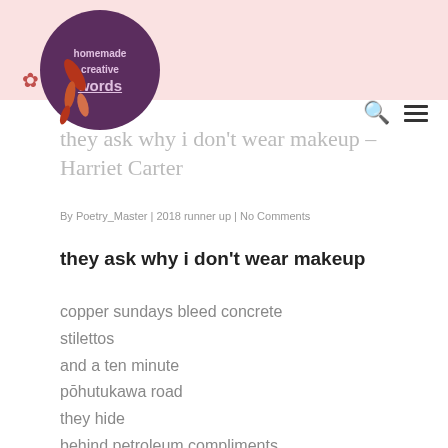they ask why i don’t wear makeup – Harriet Carter
By Poetry_Master | 2018 runner up | No Comments
they ask why i don’t wear makeup
copper sundays bleed concrete
stillettos
and a ten minute
pōhutukawa road
they hide
behind petroleum compliments
and leg-appreciating honks
no hate here